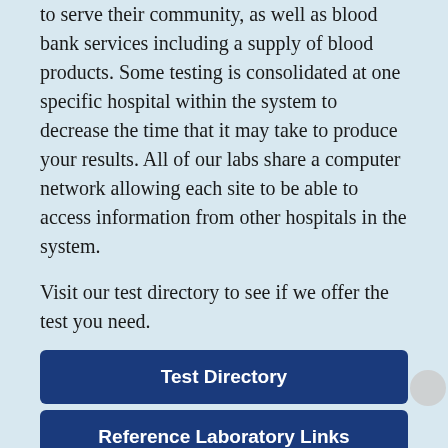to serve their community, as well as blood bank services including a supply of blood products. Some testing is consolidated at one specific hospital within the system to decrease the time that it may take to produce your results. All of our labs share a computer network allowing each site to be able to access information from other hospitals in the system.
Visit our test directory to see if we offer the test you need.
Test Directory
Reference Laboratory Links